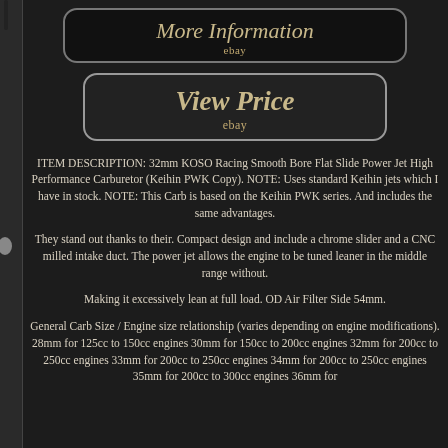[Figure (screenshot): Button labeled 'More Information' with 'ebay' subtext, dark background with rounded rectangle border]
[Figure (screenshot): Button labeled 'View Price' with 'ebay' subtext, dark background with rounded rectangle border]
ITEM DESCRIPTION: 32mm KOSO Racing Smooth Bore Flat Slide Power Jet High Performance Carburetor (Keihin PWK Copy). NOTE: Uses standard Keihin jets which I have in stock. NOTE: This Carb is based on the Keihin PWK series. And includes the same advantages.
They stand out thanks to their. Compact design and include a chrome slider and a CNC milled intake duct. The power jet allows the engine to be tuned leaner in the middle range without.
Making it excessively lean at full load. OD Air Filter Side 54mm.
General Carb Size / Engine size relationship (varies depending on engine modifications). 28mm for 125cc to 150cc engines 30mm for 150cc to 200cc engines 32mm for 200cc to 250cc engines 33mm for 200cc to 250cc engines 34mm for 200cc to 250cc engines 35mm for 200cc to 300cc engines 36mm for